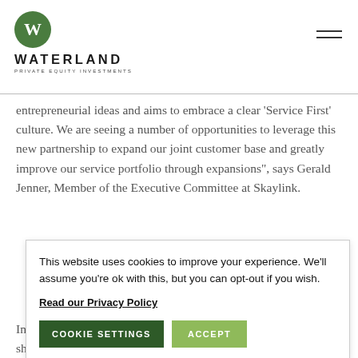WATERLAND PRIVATE EQUITY INVESTMENTS
entrepreneurial ideas and aims to embrace a clear ‘Service First’ culture. We are seeing a number of opportunities to leverage this new partnership to expand our joint customer base and greatly improve our service portfolio through expansions", says Gerald Jenner, Member of the Executive Committee at Skaylink.
This website uses cookies to improve your experience. We’ll assume you’re ok with this, but you can opt-out if you wish.
Read our Privacy Policy
COOKIE SETTINGS   ACCEPT
In 2020, the private equity investment group acquired a majority share in Skaylink. Since Waterland has supported...